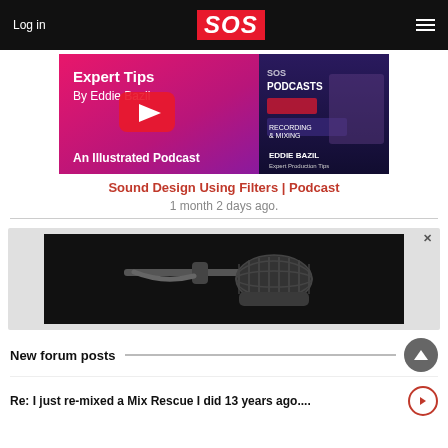Log in | SOS
[Figure (screenshot): Podcast thumbnail for 'Expert Tips By Eddie Bazil - An Illustrated Podcast' on SOS website, featuring a YouTube play button overlay and a photo of Eddie Bazil with podcast branding]
Sound Design Using Filters | Podcast
1 month 2 days ago.
[Figure (photo): Advertisement banner showing a close-up photograph of a dynamic microphone on a stand against a dark background]
New forum posts
Re: I just re-mixed a Mix Rescue I did 13 years ago....